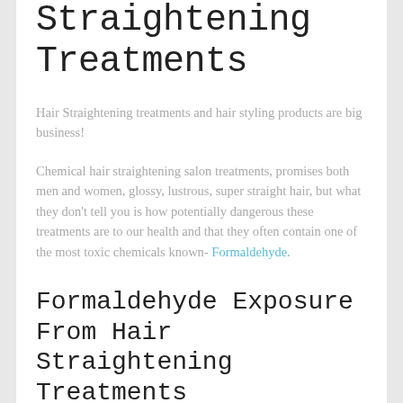Straightening Treatments
Hair Straightening treatments and hair styling products are big business!
Chemical hair straightening salon treatments, promises both men and women, glossy, lustrous, super straight hair, but what they don't tell you is how potentially dangerous these treatments are to our health and that they often contain one of the most toxic chemicals known- Formaldehyde.
Formaldehyde Exposure From Hair Straightening Treatments